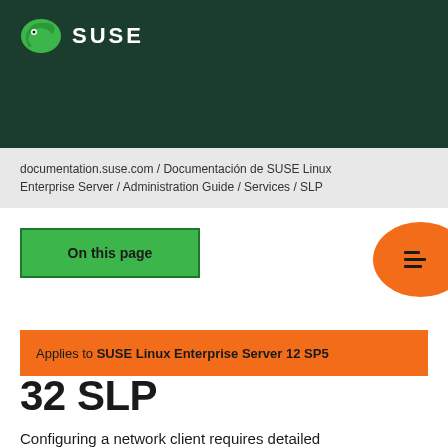SUSE
documentation.suse.com / Documentación de SUSE Linux Enterprise Server / Administration Guide / Services / SLP
On this page
Applies to SUSE Linux Enterprise Server 12 SP5
32 SLP
Configuring a network client requires detailed